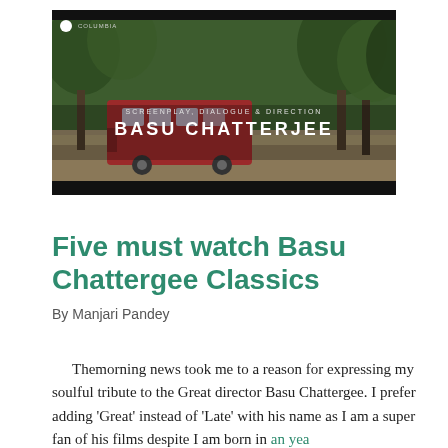[Figure (photo): A still frame from a Basu Chatterjee film showing a bus on a tree-lined street, with overlay text reading 'SCREENPLAY, DIALOGUE & DIRECTION' and 'BASU CHATTERJEE' in bold white letters. Dark bars at top and bottom of the frame.]
Five must watch Basu Chattergee Classics
By Manjari Pandey
Themorning news took me to a reason for expressing my soulful tribute to the Great director Basu Chattergee. I prefer adding 'Great' instead of 'Late' with his name as I am a super fan of his films despite I am born in an year...